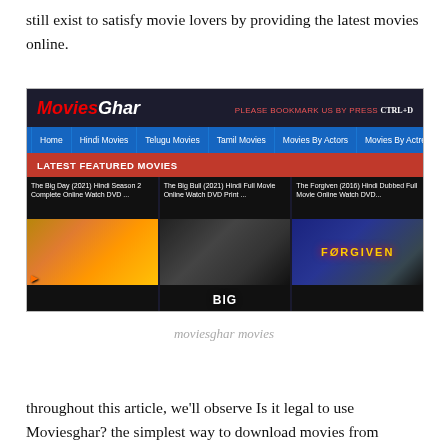still exist to satisfy movie lovers by providing the latest movies online.
[Figure (screenshot): Screenshot of MoviesGhar website showing a dark-themed movie streaming site with logo, navigation bar (Home, Hindi Movies, Telugu Movies, Tamil Movies, Movies By Actors, Movies By Actress), a 'Latest Featured Movies' section with three movie listings: The Big Day (2021) Hindi Season 2 Complete Online Watch DVD..., The Big Bull (2021) Hindi Full Movie Online Watch DVD Print..., and The Forgiven (2016) Hindi Dubbed Full Movie Online Watch DVD...]
moviesghar movies
throughout this article, we'll observe Is it legal to use Moviesghar? the simplest way to download movies from